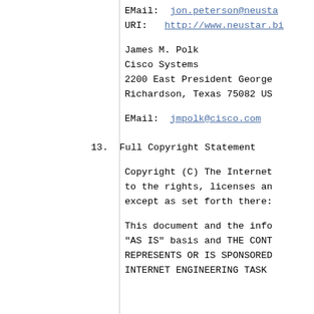EMail:  jon.peterson@neustar.biz
URI:    http://www.neustar.biz
James M. Polk
Cisco Systems
2200 East President George
Richardson, Texas 75082 US
EMail:  jmpolk@cisco.com
13.  Full Copyright Statement
Copyright (C) The Internet
to the rights, licenses an
except as set forth there:
This document and the info
"AS IS" basis and THE CONT
REPRESENTS OR IS SPONSORED
INTERNET ENGINEERING TASK